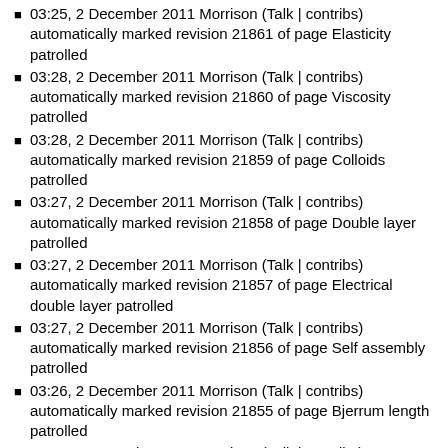03:25, 2 December 2011 Morrison (Talk | contribs) automatically marked revision 21861 of page Elasticity patrolled
03:28, 2 December 2011 Morrison (Talk | contribs) automatically marked revision 21860 of page Viscosity patrolled
03:28, 2 December 2011 Morrison (Talk | contribs) automatically marked revision 21859 of page Colloids patrolled
03:27, 2 December 2011 Morrison (Talk | contribs) automatically marked revision 21858 of page Double layer patrolled
03:27, 2 December 2011 Morrison (Talk | contribs) automatically marked revision 21857 of page Electrical double layer patrolled
03:27, 2 December 2011 Morrison (Talk | contribs) automatically marked revision 21856 of page Self assembly patrolled
03:26, 2 December 2011 Morrison (Talk | contribs) automatically marked revision 21855 of page Bjerrum length patrolled
03:26, 2 December 2011 Morrison (Talk | contribs) automatically marked revision 21854 of page Debye length patrolled
03:25, 2 December 2011 Morrison (Talk | contribs) automatically marked revision 21853 of page Zeta potential